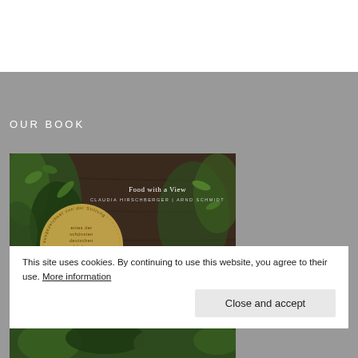OUR BOOK
[Figure (photo): Book cover of 'Die Grüne' / 'Food with a View' by Claudia Hirschberger and Arnd Schmidt, showing dark wooden table with green herbs and plants. A gold circular seal reads 'ausgezeichnet von der Stiftung Buchkunst – eines der schönsten deutschen bücher'. The title 'DIE GRÜNE' is displayed in large white letters.]
This site uses cookies. By continuing to use this website, you agree to their use. More information
Close and accept